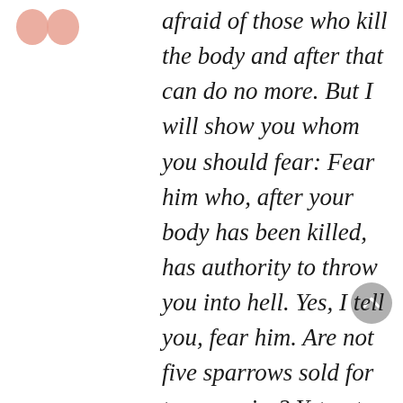[Figure (illustration): Large decorative pink/salmon quotation mark icon in upper left]
afraid of those who kill the body and after that can do no more. But I will show you whom you should fear: Fear him who, after your body has been killed, has authority to throw you into hell. Yes, I tell you, fear him. Are not five sparrows sold for two pennies? Yet not one of them is forgotten by God. Indeed, the very hairs of your head are all numbered. Don't be afraid; you are worth more than many sparrows. LUKE 12:49-53